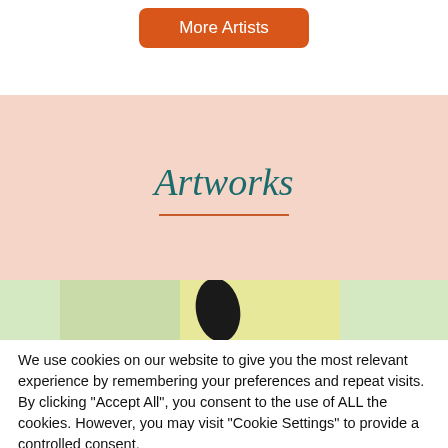[Figure (other): Orange rounded button labeled 'More Artists']
Artworks
[Figure (other): Artwork image strip with soft green, yellow, and light green colored sections, with a dark leaf/petal shape in the center]
We use cookies on our website to give you the most relevant experience by remembering your preferences and repeat visits. By clicking “Accept All”, you consent to the use of ALL the cookies. However, you may visit "Cookie Settings" to provide a controlled consent.
Cookie Settings
Accept All